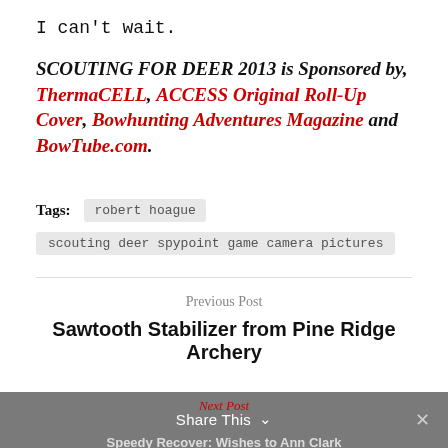I can't wait.
SCOUTING FOR DEER 2013 is Sponsored by, ThermaCELL, ACCESS Original Roll-Up Cover, Bowhunting Adventures Magazine and BowTube.com.
Tags: robert hoague  scouting deer spypoint game camera pictures
Previous Post
Sawtooth Stabilizer from Pine Ridge Archery
Next Post  Share This  ×